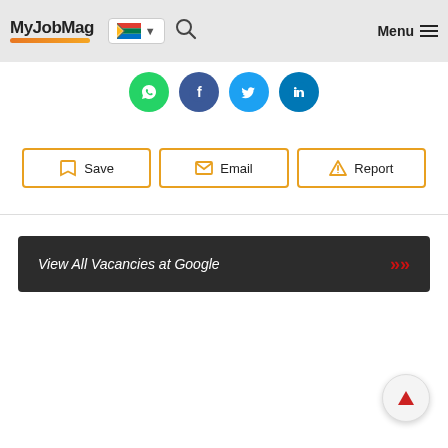MyJobMag — header with logo, South Africa flag dropdown, search icon, Menu
[Figure (screenshot): Social sharing icons row: WhatsApp (green), Facebook (blue), Twitter (light blue), LinkedIn (dark blue)]
[Figure (screenshot): Three action buttons: Save (bookmark icon), Email (envelope icon), Report (warning icon) — all with orange border]
[Figure (screenshot): Dark banner button: 'View All Vacancies at Google' with red double chevron on right]
[Figure (screenshot): Scroll-to-top circular button with red arrow pointing up, bottom-right corner]